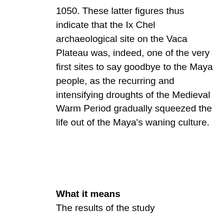1050. These latter figures thus indicate that the Ix Chel archaeological site on the Vaca Plateau was, indeed, one of the very first sites to say goodbye to the Maya people, as the recurring and intensifying droughts of the Medieval Warm Period gradually squeezed the life out of the Maya's waning culture.
What it means
The results of the study of...